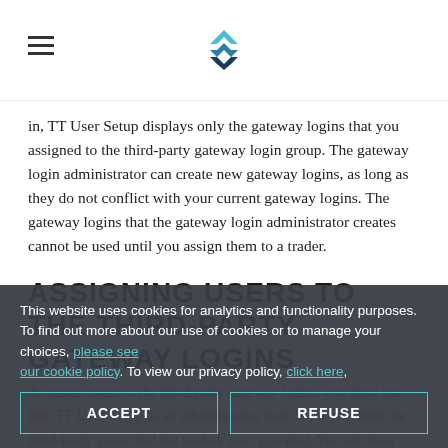[TT logo]
in, TT User Setup displays only the gateway logins that you assigned to the third-party gateway login group. The gateway login administrator can create new gateway logins, as long as they do not conflict with your current gateway logins. The gateway logins that the gateway login administrator creates cannot be used until you assign them to a trader.
ASSIGNING USERS TO THE THIRD-PARTY GATEWAY LOGINS
To assign users to the third-party gateway logins you must log into TT User Setup as an administrator that can access both the third-party group and the traders' user group(s). You can then access the Gateway Logins window and assign the gateway logins.
This website uses cookies for analytics and functionality purposes. To find out more about our use of cookies or to manage your choices, [link] [link]. To view our privacy policy, [link],